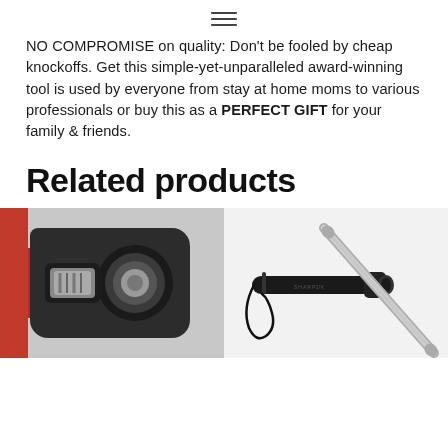≡
NO COMPROMISE on quality: Don't be fooled by cheap knockoffs. Get this simple-yet-unparalleled award-winning tool is used by everyone from stay at home moms to various professionals or buy this as a PERFECT GIFT for your family & friends.
Related products
[Figure (photo): Close-up photo of a knife sharpener with black and red handle and circular guide]
[Figure (photo): Photo of a black pen/flashlight and a metal straw on white background]